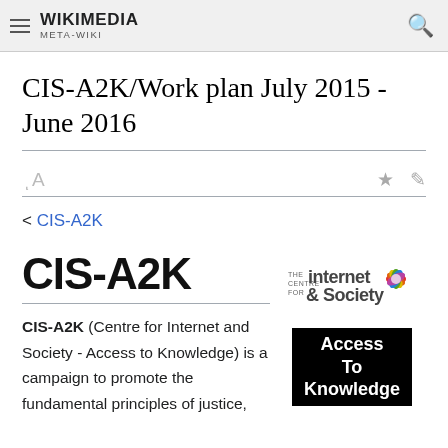WIKIMEDIA META-WIKI
CIS-A2K/Work plan July 2015 - June 2016
< CIS-A2K
[Figure (logo): CIS-A2K logo with 'CIS-A2K' bold text, The Centre for Internet Society logo with colorful flower graphic, and 'Access To Knowledge' black badge]
CIS-A2K (Centre for Internet and Society - Access to Knowledge) is a campaign to promote the fundamental principles of justice,